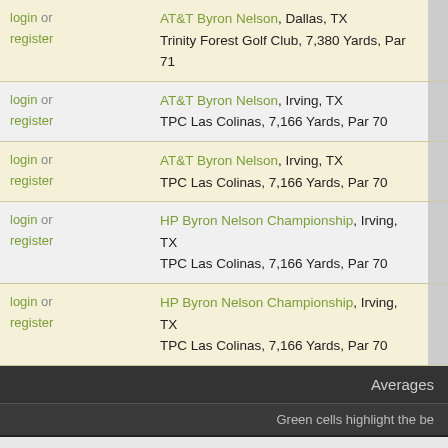| login/register | Tournament |  |
| --- | --- | --- |
| login or register | AT&T Byron Nelson, Dallas, TX
Trinity Forest Golf Club, 7,380 Yards, Par 71 |  |
| login or register | AT&T Byron Nelson, Irving, TX
TPC Las Colinas, 7,166 Yards, Par 70 |  |
| login or register | AT&T Byron Nelson, Irving, TX
TPC Las Colinas, 7,166 Yards, Par 70 |  |
| login or register | HP Byron Nelson Championship, Irving, TX
TPC Las Colinas, 7,166 Yards, Par 70 |  |
| login or register | HP Byron Nelson Championship, Irving, TX
TPC Las Colinas, 7,166 Yards, Par 70 |  |
Averages
Green cells highlight the be
Copyright © 202
Terms of Service - Privacy Policy
PG